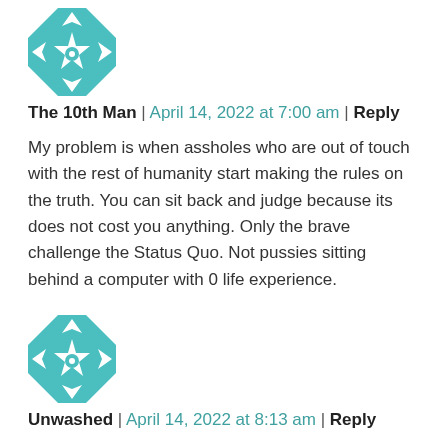[Figure (illustration): Teal and white geometric quilt-pattern avatar icon for user 'The 10th Man']
The 10th Man | April 14, 2022 at 7:00 am | Reply
My problem is when assholes who are out of touch with the rest of humanity start making the rules on the truth. You can sit back and judge because its does not cost you anything. Only the brave challenge the Status Quo. Not pussies sitting behind a computer with 0 life experience.
[Figure (illustration): Teal and white geometric quilt-pattern avatar icon for user 'Unwashed']
Unwashed | April 14, 2022 at 8:13 am | Reply
And you are the brave I suppose. You are the asshole sitting behind a computer